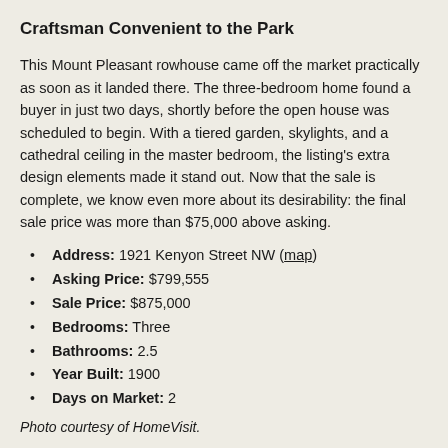Craftsman Convenient to the Park
This Mount Pleasant rowhouse came off the market practically as soon as it landed there. The three-bedroom home found a buyer in just two days, shortly before the open house was scheduled to begin. With a tiered garden, skylights, and a cathedral ceiling in the master bedroom, the listing's extra design elements made it stand out. Now that the sale is complete, we know even more about its desirability: the final sale price was more than $75,000 above asking.
Address: 1921 Kenyon Street NW (map)
Asking Price: $799,555
Sale Price: $875,000
Bedrooms: Three
Bathrooms: 2.5
Year Built: 1900
Days on Market: 2
Photo courtesy of HomeVisit.